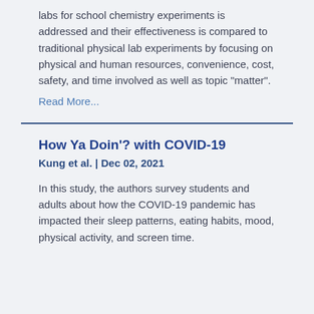labs for school chemistry experiments is addressed and their effectiveness is compared to traditional physical lab experiments by focusing on physical and human resources, convenience, cost, safety, and time involved as well as topic "matter".
Read More...
How Ya Doin'? with COVID-19
Kung et al. | Dec 02, 2021
In this study, the authors survey students and adults about how the COVID-19 pandemic has impacted their sleep patterns, eating habits, mood, physical activity, and screen time.